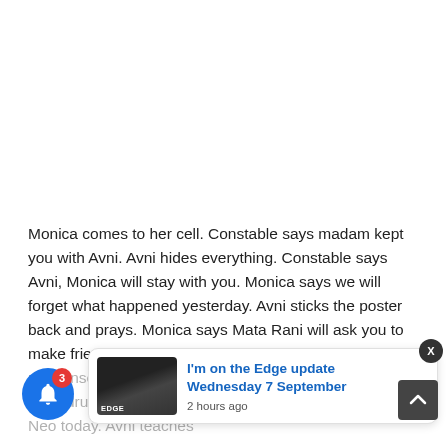[Figure (other): Advertisement/blank white area at top of page]
Monica comes to her cell. Constable says madam kept you with Avni. Avni hides everything. Constable says Avni, Monica will stay with you. Monica says we will forget what happened yesterday. Avni sticks the poster back and prays. Monica says Mata Rani will ask you to make friendship. Avni says I don't believe in all this nonsense. She says...rge, it me... ORS consignment will have drugs. She says Neo ha to attack today. I will go as Neo today. Avni teaches
[Figure (screenshot): Popup notification with thumbnail image showing 'EDGE' show. Text reads: I'm on the Edge update Wednesday 7 September, 2 hours ago]
[Figure (other): Blue notification bell button with red badge showing '3']
[Figure (other): Dark scroll-to-top arrow button at bottom right]